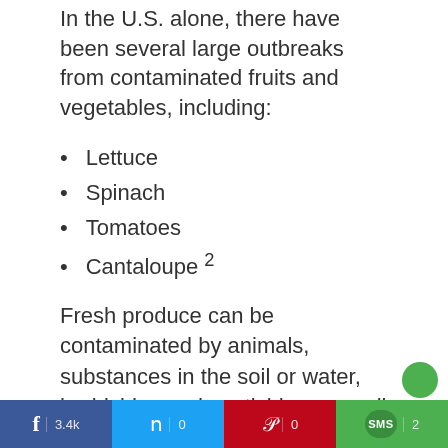In the U.S. alone, there have been several large outbreaks from contaminated fruits and vegetables, including:
Lettuce
Spinach
Tomatoes
Cantaloupe 2
Fresh produce can be contaminated by animals, substances in the soil or water, herbicides and pesticides, as well as unknowingly by workers. While you may be most familiar with salmonella and E. coli, there are hundreds of others.
f 3.4k | Twitter 0 | Pinterest 0 | SMS 2